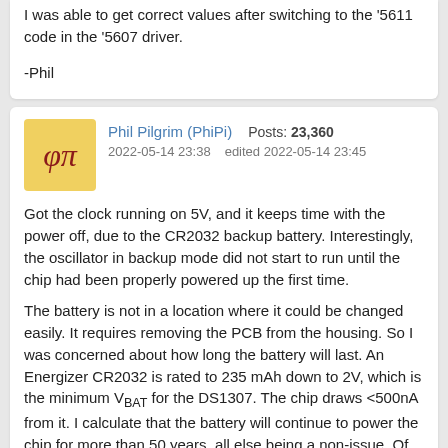I was able to get correct values after switching to the '5611 code in the '5607 driver.

-Phil
Phil Pilgrim (PhiPi)  Posts: 23,360  2022-05-14 23:38  edited 2022-05-14 23:45
Got the clock running on 5V, and it keeps time with the power off, due to the CR2032 backup battery. Interestingly, the oscillator in backup mode did not start to run until the chip had been properly powered up the first time.
The battery is not in a location where it could be changed easily. It requires removing the PCB from the housing. So I was concerned about how long the battery will last. An Energizer CR2032 is rated to 235 mAh down to 2V, which is the minimum VBAT for the DS1307. The chip draws <500nA from it. I calculate that the battery will continue to power the chip for more than 50 years, all else being a non-issue. Of course, there'll be leakage current across the PCB, too